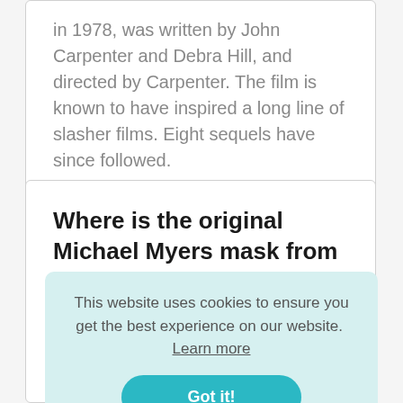in 1978, was written by John Carpenter and Debra Hill, and directed by Carpenter. The film is known to have inspired a long line of slasher films. Eight sequels have since followed.
Where is the original Michael Myers mask from Halloween?
This website uses cookies to ensure you get the best experience on our website. Learn more
Got it!
comes home. Michael hides both the mask